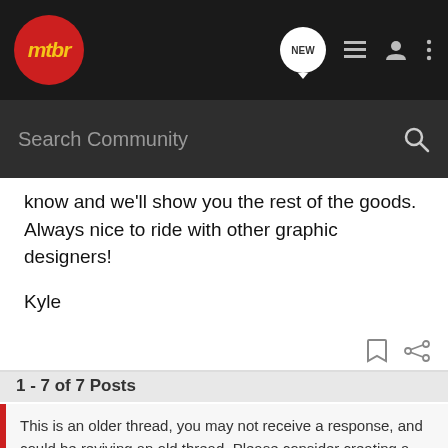mtbr — NEW (navigation icons)
Search Community
know and we'll show you the rest of the goods. Always nice to ride with other graphic designers!

Kyle
1 - 7 of 7 Posts
This is an older thread, you may not receive a response, and could be reviving an old thread. Please consider creating a new thread.
[Figure (screenshot): Cabela's advertisement banner: HIGHEST-RATED GEAR, rating 4.9 stars, with product image and play button]